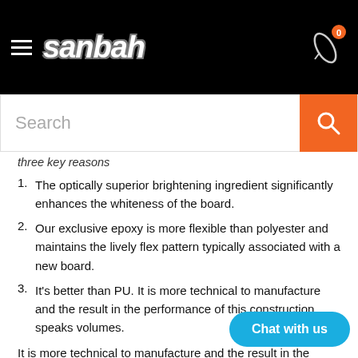sanbah
Search
three key reasons
The optically superior brightening ingredient significantly enhances the whiteness of the board.
Our exclusive epoxy is more flexible than polyester and maintains the lively flex pattern typically associated with a new board.
It's better than PU. It is more technical to manufacture and the result in the performance of this construction speaks volumes.
It is more technical to manufacture and the result in the performance of this construction speaks volumes. In keeping with the design philosophy of creating innovative and surfboards made from only the highest quality materials, the PE construction is lightweight, delivers cutting-edge flex response and
Chat with us